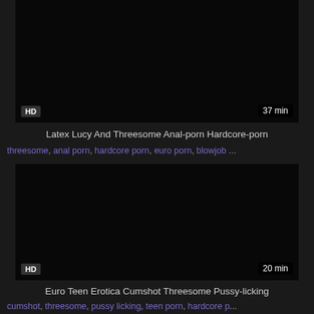[Figure (screenshot): Dark video thumbnail with HD badge and 37 min duration label]
Latex Lucy And Threesome Anal-porn Hardcore-porn
threesome, anal porn, hardcore porn, euro porn, blowjob ...
[Figure (screenshot): Dark video thumbnail with HD badge and 20 min duration label]
Euro Teen Erotica Cumshot Threesome Pussy-licking
cumshot, threesome, pussy licking, teen porn, hardcore p...